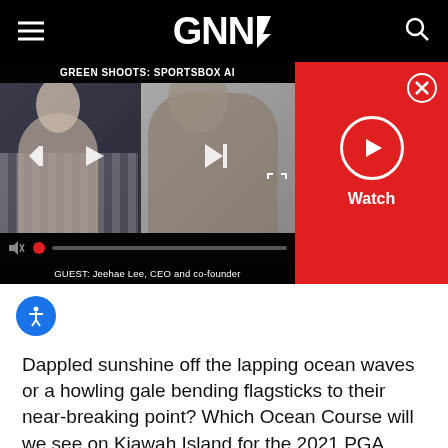GNN
[Figure (screenshot): Video player screenshot showing 'GREEN SHOOTS: SPORTSBOX AI' with two video thumbnails side by side. Guest: Jeehae Lee, CEO and co-founder. Red panel on right with Watch button and close X.]
Dappled sunshine off the lapping ocean waves or a howling gale bending flagsticks to their near-breaking point? Which Ocean Course will we see on Kiawah Island for the 2021 PGA Championship?
The windless one that surrendered a